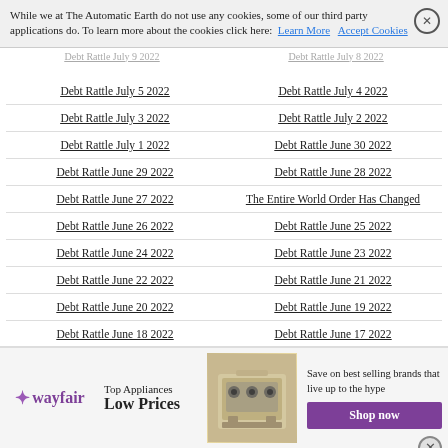While we at The Automatic Earth do not use any cookies, some of our third party applications do. To learn more about the cookies click here: Learn More  Accept Cookies
Debt Rattle July 5 2022
Debt Rattle July 4 2022
Debt Rattle July 3 2022
Debt Rattle July 2 2022
Debt Rattle July 1 2022
Debt Rattle June 30 2022
Debt Rattle June 29 2022
Debt Rattle June 28 2022
Debt Rattle June 27 2022
The Entire World Order Has Changed
Debt Rattle June 26 2022
Debt Rattle June 25 2022
Debt Rattle June 24 2022
Debt Rattle June 23 2022
Debt Rattle June 22 2022
Debt Rattle June 21 2022
Debt Rattle June 20 2022
Debt Rattle June 19 2022
Debt Rattle June 18 2022
Debt Rattle June 17 2022
[Figure (screenshot): Wayfair advertisement banner: Top Appliances Low Prices, Save on best selling brands that live up to the hype, Shop now button]